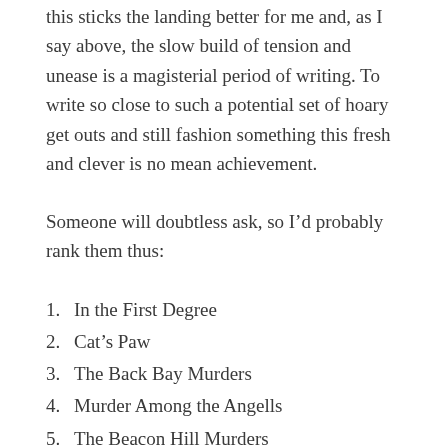this sticks the landing better for me and, as I say above, the slow build of tension and unease is a magisterial period of writing. To write so close to such a potential set of hoary get outs and still fashion something this fresh and clever is no mean achievement.
Someone will doubtless ask, so I'd probably rank them thus:
1. In the First Degree
2. Cat's Paw
3. The Back Bay Murders
4. Murder Among the Angells
5. The Beacon Hill Murders